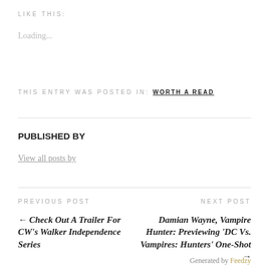LIKE THIS:
Loading...
THIS ENTRY WAS POSTED IN: WORTH A READ
PUBLISHED BY
View all posts by
PREVIOUS POST
NEXT POST
← Check Out A Trailer For CW's Walker Independence Series
Damian Wayne, Vampire Hunter: Previewing 'DC Vs. Vampires: Hunters' One-Shot →
Generated by Feedzy